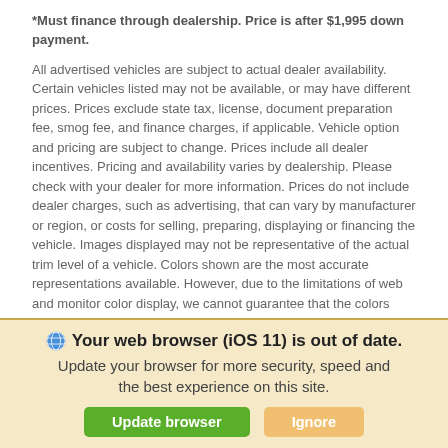*Must finance through dealership. Price is after $1,995 down payment.
All advertised vehicles are subject to actual dealer availability. Certain vehicles listed may not be available, or may have different prices. Prices exclude state tax, license, document preparation fee, smog fee, and finance charges, if applicable. Vehicle option and pricing are subject to change. Prices include all dealer incentives. Pricing and availability varies by dealership. Please check with your dealer for more information. Prices do not include dealer charges, such as advertising, that can vary by manufacturer or region, or costs for selling, preparing, displaying or financing the vehicle. Images displayed may not be representative of the actual trim level of a vehicle. Colors shown are the most accurate representations available. However, due to the limitations of web and monitor color display, we cannot guarantee that the colors depicted will exactly match the color of the car. Information provided is believed
Your web browser (iOS 11) is out of date. Update your browser for more security, speed and the best experience on this site.